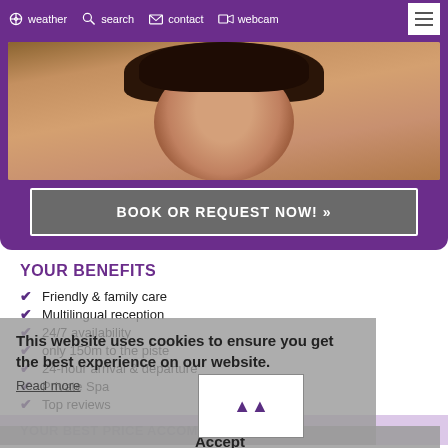weather  search  contact  webcam
[Figure (photo): Partial photo of a woman with dark hair, cropped below chin, warm background]
BOOK OR REQUEST NOW! »
YOUR BENEFITS
Friendly & family care
Multilingual reception
24/7 availability
only 150m to the piste
24-hour arrival & departure
Private Spa
Top reviews
This website uses cookies to ensure you get the best experience on our website.
Read more
Accept
YOUR BEST PRICE ACCOMMODATION